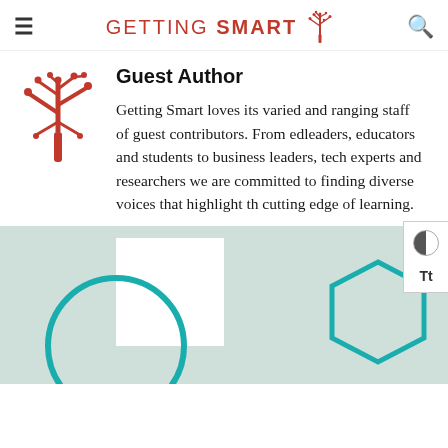GETTING SMART (logo with tree icon)
Guest Author
Getting Smart loves its varied and ranging staff of guest contributors. From edleaders, educators and students to business leaders, tech experts and researchers we are committed to finding diverse voices that highlight the cutting edge of learning.
[Figure (illustration): Teal/mint green background section with a white rectangle, a teal circle outline, and a teal hexagon outline — decorative geometric shapes at the bottom of the page.]